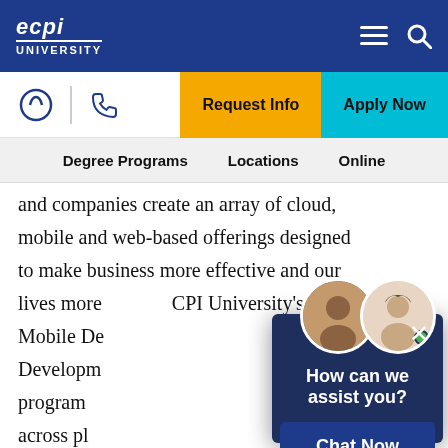ECPI UNIVERSITY
Request Info | Apply Now | Degree Programs | Locations | Online
and companies create an array of cloud, mobile and web-based offerings designed to make business more effective and our lives more ... CPI University's Mobile De... Developm... program... across pl... programs... industry certifications and internships for real world experience that enhances
[Figure (screenshot): Chat widget overlay with two agent avatars, heading 'How can we assist you?' and a 'Chat Now' button on dark navy background]